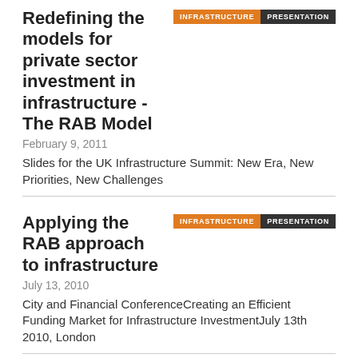Redefining the models for private sector investment in infrastructure - The RAB Model
February 9, 2011
Slides for the UK Infrastructure Summit: New Era, New Priorities, New Challenges
Applying the RAB approach to infrastructure
July 13, 2010
City and Financial ConferenceCreating an Efficient Funding Market for Infrastructure InvestmentJuly 13th 2010, London
The infrastructure